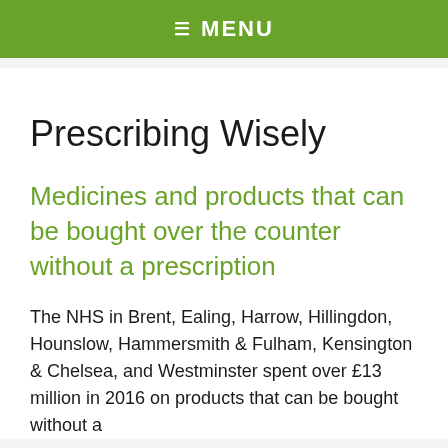≡ MENU
Prescribing Wisely
Medicines and products that can be bought over the counter without a prescription
The NHS in Brent, Ealing, Harrow, Hillingdon, Hounslow, Hammersmith & Fulham, Kensington & Chelsea, and Westminster spent over £13 million in 2016 on products that can be bought without a